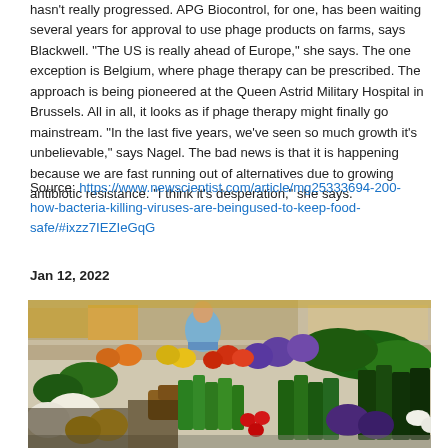hasn't really progressed. APG Biocontrol, for one, has been waiting several years for approval to use phage products on farms, says Blackwell. "The US is really ahead of Europe," she says. The one exception is Belgium, where phage therapy can be prescribed. The approach is being pioneered at the Queen Astrid Military Hospital in Brussels. All in all, it looks as if phage therapy might finally go mainstream. "In the last five years, we've seen so much growth it's unbelievable," says Nagel. The bad news is that it is happening because we are fast running out of alternatives due to growing antibiotic resistance. "I think it's desperation," she says.
Source: https://www.newscientist.com/article/mg25333694-200-how-bacteria-killing-viruses-are-beingused-to-keep-food-safe/#ixzz7IEZIeGqG
Jan 12, 2022
[Figure (photo): A colorful outdoor market produce stand showing a wide variety of fresh vegetables and fruits displayed in boxes and crates, with green leafy vegetables, purple cabbages, tomatoes, and other produce. A person in a blue top is visible in the background.]